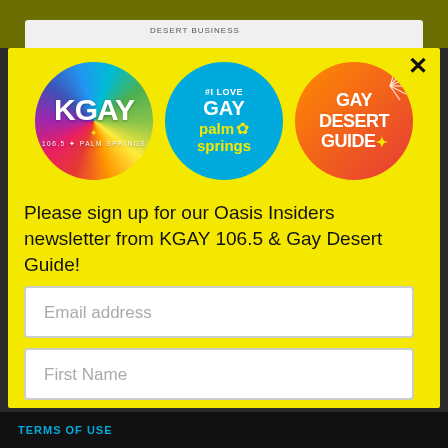[Figure (logo): KGAY 106.5 Palm Springs rainbow circle logo, #I Love Gay Palm Springs blue circle logo, Gay Desert Guide orange/red circle logo with sunburst]
Please sign up for our Oasis Insiders newsletter from KGAY 106.5 & Gay Desert Guide!
Email address
First Name
TERMS OF USE